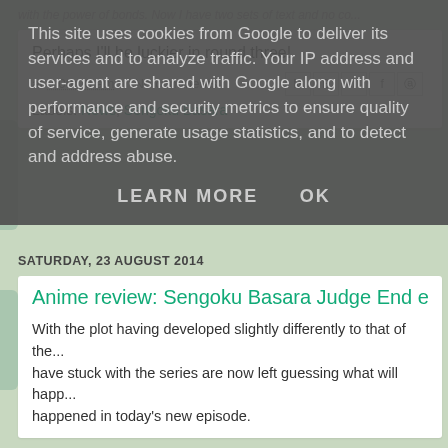...with the power of bonds. Now I have two sets of text and no co...
Perhaps I'll be luckier in round three!
at 8:08:00 am   No comments:
Labels: News, Sengoku Basara
SATURDAY, 23 AUGUST 2014
Anime review: Sengoku Basara Judge End episode...
With the plot having developed slightly differently to that of the... have stuck with the series are now left guessing what will happ... happened in today's new episode.
This site uses cookies from Google to deliver its services and to analyze traffic. Your IP address and user-agent are shared with Google along with performance and security metrics to ensure quality of service, generate usage statistics, and to detect and address abuse.
LEARN MORE   OK